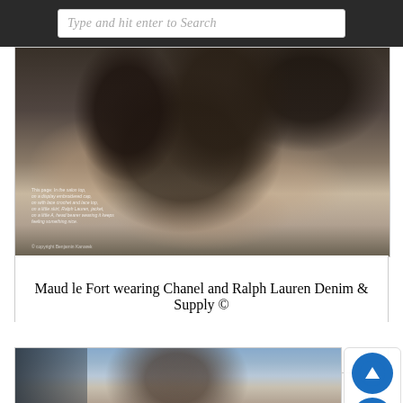Type and hit enter to Search
[Figure (photo): Fashion photograph of Maud le Fort wearing a dark lace skirt (Chanel) and Ralph Lauren Denim & Supply, photographed from behind/side angle, showing intricate lace detail of the garment]
Maud le Fort wearing Chanel and Ralph Lauren Denim & Supply © Benjamin Kanarek
[Figure (photo): Fashion photograph showing a person with curly brown hair against a light blue sky background, architectural elements visible on the left side]